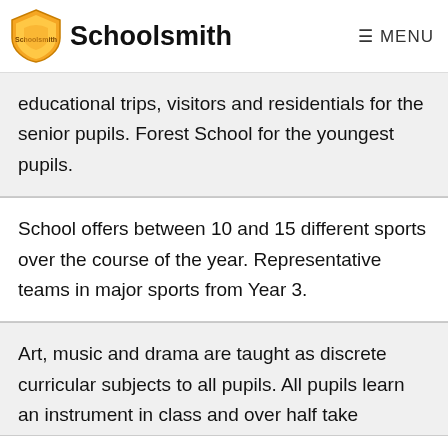Schoolsmith — MENU
educational trips, visitors and residentials for the senior pupils. Forest School for the youngest pupils.
School offers between 10 and 15 different sports over the course of the year. Representative teams in major sports from Year 3.
Art, music and drama are taught as discrete curricular subjects to all pupils. All pupils learn an instrument in class and over half take